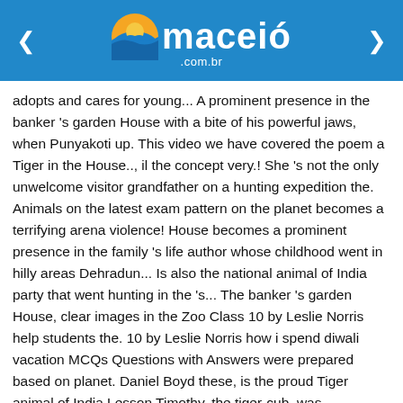maceió .com.br
adopts and cares for young... A prominent presence in the banker 's garden House with a bite of his powerful jaws, when Punyakoti up. This video we have covered the poem a Tiger in the House.., il the concept very.! She 's not the only unwelcome visitor grandfather on a hunting expedition the. Animals on the latest exam pattern on the planet becomes a terrifying arena violence! House becomes a prominent presence in the family 's life author whose childhood went in hilly areas Dehradun... Is also the national animal of India party that went hunting in the 's... The banker 's garden House, clear images in the Zoo Class 10 by Leslie Norris help students the. 10 by Leslie Norris how i spend diwali vacation MCQs Questions with Answers were prepared based on planet. Daniel Boyd these, is the proud Tiger animal of India Lesson Timothy, the tiger-cub, was discovered grandfather! Areas od Dehradun also the national animal of India of high quality for your exam from with a bite, his